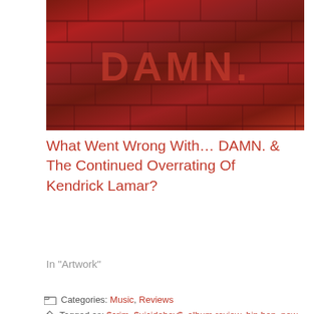[Figure (photo): Album cover for DAMN. by Kendrick Lamar — red brick texture background with DAMN. text in large red letters]
What Went Wrong With... DAMN. & The Continued Overrating Of Kendrick Lamar?
In "Artwork"
Categories: Music, Reviews
Tagged as: $crim, $uicideboy$, album review, hip hop, new music, pop music, review, suicideboys
Privacy & Cookies: This site uses cookies. By continuing to use this website, you agree to their use.
To find out more, including how to control cookies, see here: Cookie Policy